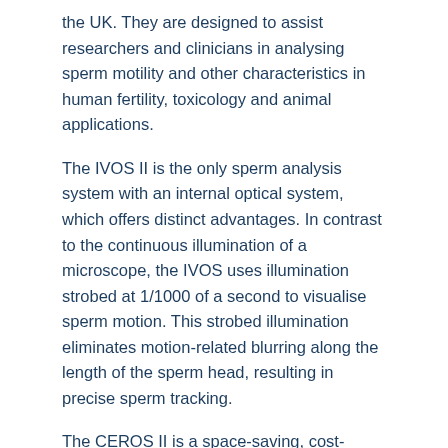the UK. They are designed to assist researchers and clinicians in analysing sperm motility and other characteristics in human fertility, toxicology and animal applications.
The IVOS II is the only sperm analysis system with an internal optical system, which offers distinct advantages. In contrast to the continuous illumination of a microscope, the IVOS uses illumination strobed at 1/1000 of a second to visualise sperm motion. This strobed illumination eliminates motion-related blurring along the length of the sperm head, resulting in precise sperm tracking.
The CEROS II is a space-saving, cost-effective, high-performance sperm analyser. Providing the same sperm analysis accuracy and detail of the IVOS II, the CEROS II is a less expensive alternative which requires less bench space.
Both systems are compatible with the Clinical Human Motility software and the Dimensions software. The Clinical Human Motility software provides counts and concentrations, motility